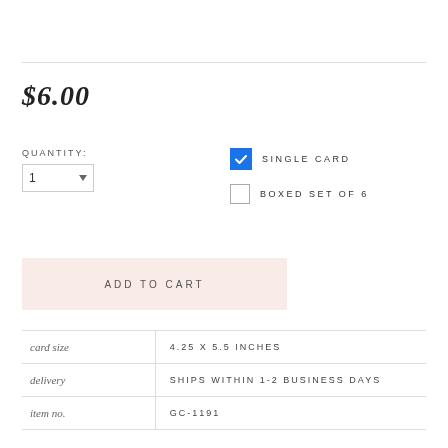$6.00
QUANTITY:
1
SINGLE CARD
BOXED SET OF 6
ADD TO CART
|  |  |
| --- | --- |
| card size | 4.25 X 5.5 INCHES |
| delivery | SHIPS WITHIN 1-2 BUSINESS DAYS |
| item no. | GC-1191 |